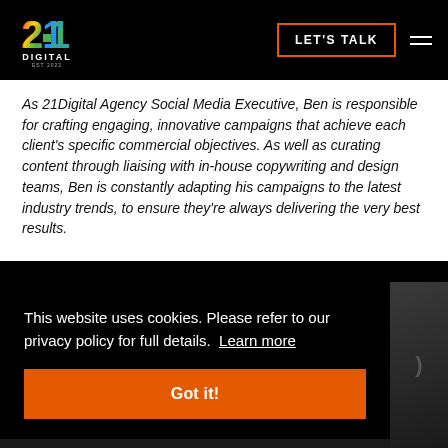[Figure (logo): 21Digital agency logo with colorful multi-colored '21' numeral and 'DIGITAL EST 2022' text below in white on black background]
LET'S TALK
As 21Digital Agency Social Media Executive, Ben is responsible for crafting engaging, innovative campaigns that achieve each client's specific commercial objectives. As well as curating content through liaising with in-house copywriting and design teams, Ben is constantly adapting his campaigns to the latest industry trends, to ensure they're always delivering the very best results.
This website uses cookies. Please refer to our privacy policy for full details. Learn more
Got it!